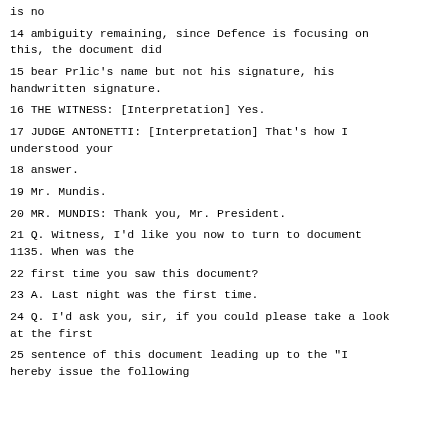is no
14 ambiguity remaining, since Defence is focusing on this, the document did
15 bear Prlic's name but not his signature, his handwritten signature.
16 THE WITNESS: [Interpretation] Yes.
17 JUDGE ANTONETTI: [Interpretation] That's how I understood your
18 answer.
19 Mr. Mundis.
20 MR. MUNDIS: Thank you, Mr. President.
21 Q. Witness, I'd like you now to turn to document 1135. When was the
22 first time you saw this document?
23 A. Last night was the first time.
24 Q. I'd ask you, sir, if you could please take a look at the first
25 sentence of this document leading up to the "I hereby issue the following